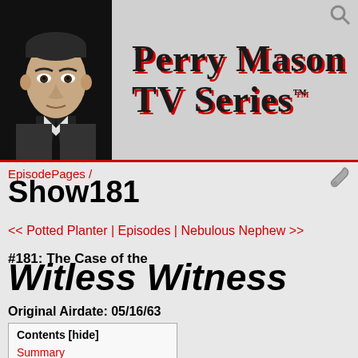[Figure (photo): Black and white photo of Perry Mason actor (Raymond Burr) in suit, looking stern, on dark background]
Perry Mason TV Series™
EpisodePages / Show181
<< Potted Planter | Episodes | Nebulous Nephew >>
#181: The Case of the Witless Witness
Original Airdate: 05/16/63
| Contents [hide] |
| --- |
| Summary |
| Credits |
| Opening |
| Trailing |